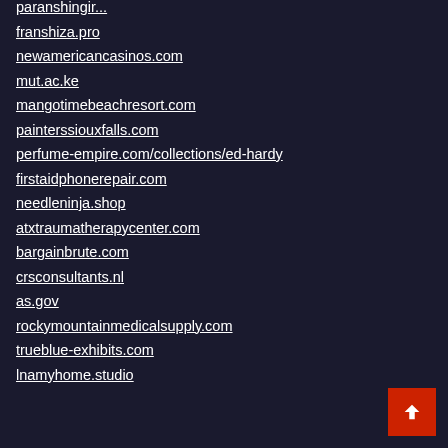paranshingir... (partial, truncated at top)
franshiza.pro
newamericancasinos.com
mut.ac.ke
mangotimebeachresort.com
painterssiouxfalls.com
perfume-empire.com/collections/ed-hardy
firstaidphonerepair.com
needleninja.shop
atxtraumatherapycenter.com
bargainbrute.com
crsconsultants.nl
as.gov
rockymountainmedicalsupply.com
trueblue-exhibits.com
lnamyhome.studio (partial)